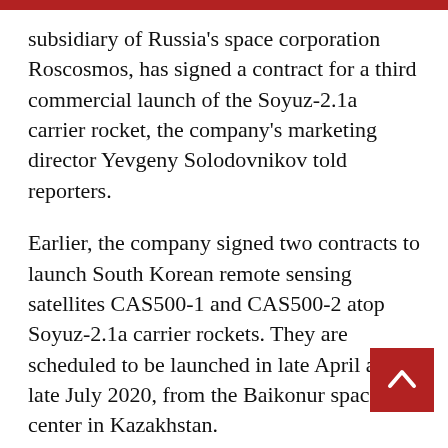subsidiary of Russia's space corporation Roscosmos, has signed a contract for a third commercial launch of the Soyuz-2.1a carrier rocket, the company's marketing director Yevgeny Solodovnikov told reporters.
Earlier, the company signed two contracts to launch South Korean remote sensing satellites CAS500-1 and CAS500-2 atop Soyuz-2.1a carrier rockets. They are scheduled to be launched in late April and late July 2020, from the Baikonur space center in Kazakhstan.
Russian operator views option of launching commercial satellites to Moon
“We have signed a contract for the third launc… will not reveal other details right now. The information will be made public when appropriate.”